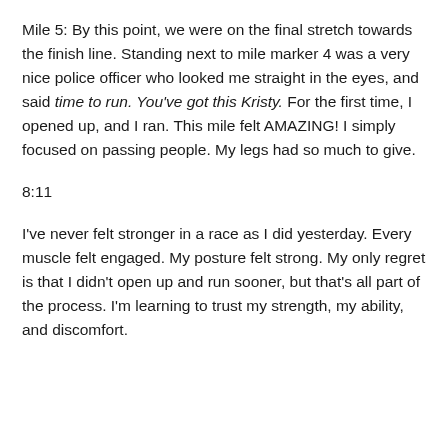Mile 5: By this point, we were on the final stretch towards the finish line. Standing next to mile marker 4 was a very nice police officer who looked me straight in the eyes, and said time to run. You've got this Kristy. For the first time, I opened up, and I ran. This mile felt AMAZING! I simply focused on passing people. My legs had so much to give.
8:11
I've never felt stronger in a race as I did yesterday. Every muscle felt engaged. My posture felt strong. My only regret is that I didn't open up and run sooner, but that's all part of the process. I'm learning to trust my strength, my ability, and discomfort.